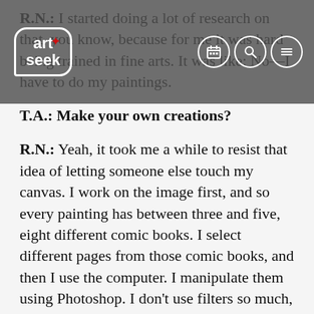R.N.: I started doing a lot of research on that, you know, because for me it was hard being trained in fine arts. It was like: No—I have to do my paintings.
[Figure (logo): Art+Seek logo in a speech-bubble shaped white border outline on dark grey overlay bar, with navigation icons (calendar, search, hamburger menu) on the right]
T.A.: Make your own creations?
R.N.: Yeah, it took me a while to resist that idea of letting someone else touch my canvas. I work on the image first, and so every painting has between three and five, eight different comic books. I select different pages from those comic books, and then I use the computer. I manipulate them using Photoshop. I don't use filters so much, but I cut, copy and paste little